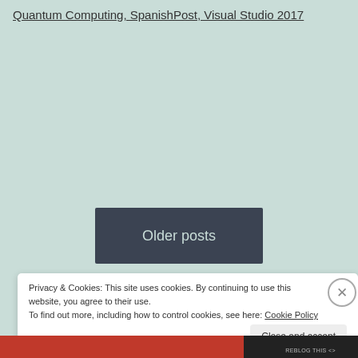Quantum Computing, SpanishPost, Visual Studio 2017
Older posts
Privacy & Cookies: This site uses cookies. By continuing to use this website, you agree to their use.
To find out more, including how to control cookies, see here: Cookie Policy
Close and accept